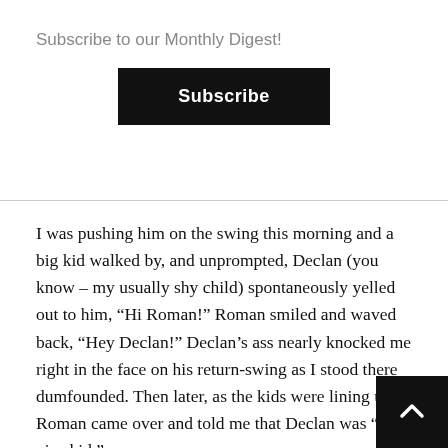Subscribe to our Monthly Digest!
[Figure (other): Black Subscribe button]
I was pushing him on the swing this morning and a big kid walked by, and unprompted, Declan (you know – my usually shy child) spontaneously yelled out to him, "Hi Roman!" Roman smiled and waved back, "Hey Declan!" Declan's ass nearly knocked me right in the face on his return-swing as I stood there dumfounded. Then later, as the kids were lining up, Roman came over and told me that Declan was "a nice kid."
I looked around to make sure I had not entered an alternate dimension by accident.
Not that Declan isn't nice. He's very nice actually, but is not very outgoing with people he does not know.